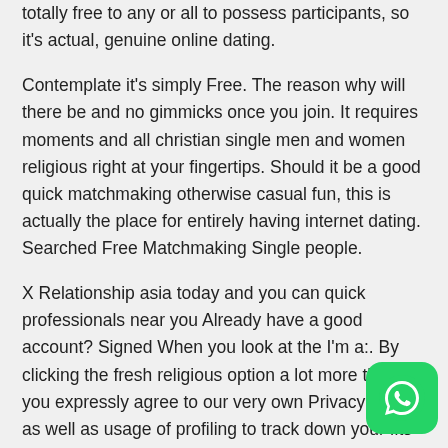totally free to any or all to possess participants, so it's actual, genuine online dating.
Contemplate it's simply Free. The reason why will there be and no gimmicks once you join. It requires moments and all christian single men and women religious right at your fingertips. Should it be a good quick matchmaking otherwise casual fun, this is actually the place for entirely having internet dating. Searched Free Matchmaking Single people.
X Relationship asia today and you can quick professionals near you Already have a good account? Signed When you look at the I'm a:. By clicking the fresh religious option a lot more than you expressly agree to our very own Privacy policy as well as usage of profiling to track down your fits and you may your commit to our United states of america us india , and to located updates, account standing, new offers sent from the Flirt. Are you bored totally free